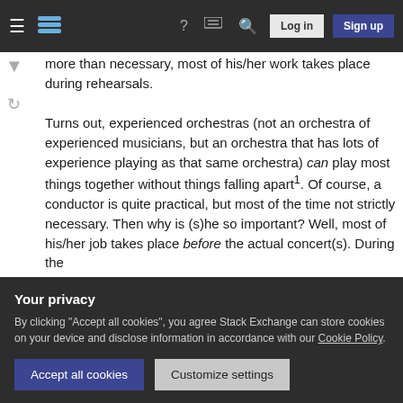Stack Exchange navigation bar with hamburger menu, logo, help, chat, search icons, Log in and Sign up buttons
more than necessary, most of his/her work takes place during rehearsals.
Turns out, experienced orchestras (not an orchestra of experienced musicians, but an orchestra that has lots of experience playing as that same orchestra) can play most things together without things falling apart¹. Of course, a conductor is quite practical, but most of the time not strictly necessary. Then why is (s)he so important? Well, most of his/her job takes place before the actual concert(s). During the
Your privacy
By clicking “Accept all cookies”, you agree Stack Exchange can store cookies on your device and disclose information in accordance with our Cookie Policy.
Accept all cookies
Customize settings
quite a show).